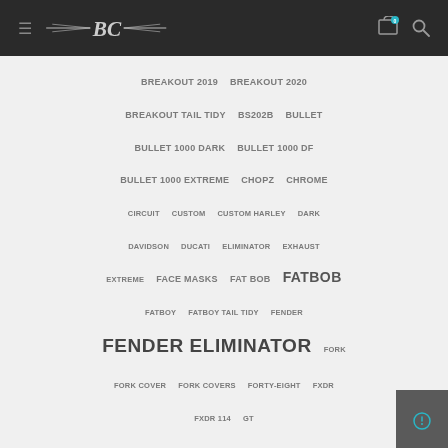BC Motorcycles navigation header with logo, cart and search
BREAKOUT 2019  BREAKOUT 2020  BREAKOUT TAIL TIDY  BS202B  BULLET  BULLET 1000 DARK  BULLET 1000 DF  BULLET 1000 EXTREME  CHOPZ  CHROME  CIRCUIT  CUSTOM  CUSTOM HARLEY  DARK  DAVIDSON  DUCATI  ELIMINATOR  EXHAUST  EXTREME  FACE MASKS  FAT BOB  FATBOB  FATBOY  FATBOY TAIL TIDY  FENDER  FENDER ELIMINATOR  FORK  FORK COVER  FORK COVERS  FORTY-EIGHT  FXDR  FXDR 114  GT  HANDLEBAR RISER EXTENSION BILLET HARLEY DAVIDSON  HARLEY  HARLEY 2018